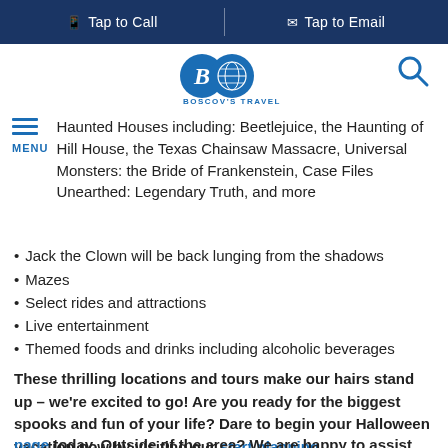Tap to Call  |  Tap to Email
[Figure (logo): Boscov's Travel logo with two overlapping circles and globe, with BOSCOV'S TRAVEL text below]
Haunted Houses including: Beetlejuice, the Haunting of Hill House, the Texas Chainsaw Massacre, Universal Monsters: the Bride of Frankenstein, Case Files Unearthed: Legendary Truth, and more
Jack the Clown will be back lunging from the shadows
Mazes
Select rides and attractions
Live entertainment
Themed foods and drinks including alcoholic beverages
These thrilling locations and tours make our hairs stand up – we're excited to go! Are you ready for the biggest spooks and fun of your life? Dare to begin your Halloween vacation now by visiting our start planning page today. Outside of the area? We are happy to assist